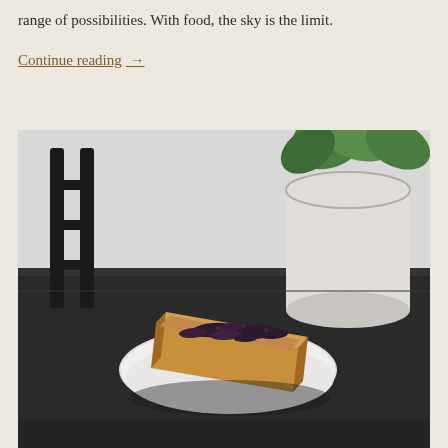range of possibilities. With food, the sky is the limit.
Continue reading →
[Figure (photo): A slice of toast with peanut butter and jam on a white round plate, sitting on a dark table. In the background there is a black chair and a white pot with a green plant.]